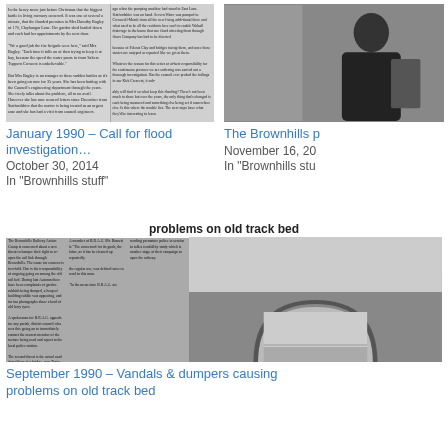[Figure (photo): Black and white newspaper clipping showing flooded area with water and dark objects, alongside columns of newspaper text]
January 1990 – Call for flood investigation…
October 30, 2014
In "Brownhills stuff"
[Figure (photo): Black and white photo of a person in dark clothing, partially cropped on the right side]
The Brownhills p
November 16, 20
In "Brownhills stu
[Figure (photo): Newspaper clipping with bold headline 'problems on old track bed' and photo of a stone bridge arch, with multiple columns of newspaper text]
September 1990 – Vandals & dumpers causing problems on old track bed